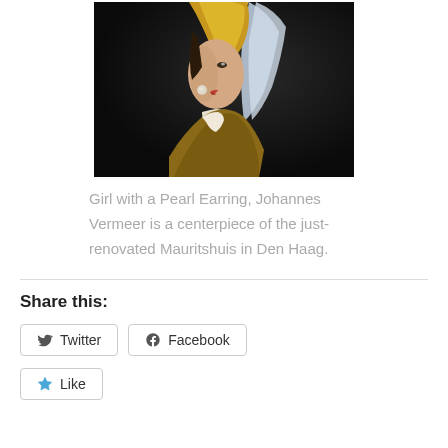[Figure (illustration): Painting of Girl with a Pearl Earring by Johannes Vermeer — portrait of a young woman in three-quarter view against a dark background, wearing a blue and yellow headscarf and a pearl earring]
Girl with a Pearl Earring, Johannes Vermeer is a centerpiece of the just-renovated Mauritshuis in Den Haag.
Share this:
Twitter
Facebook
Like